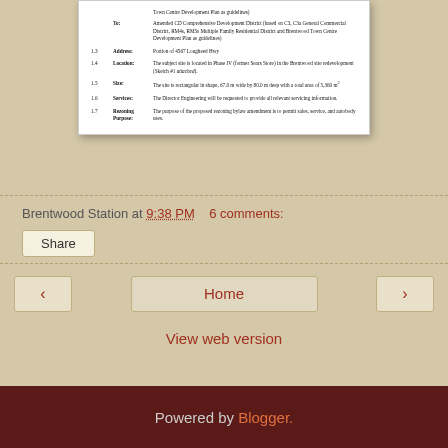[Figure (screenshot): Scanned government document showing rezoning application details with numbered items 1.3 through 1.7 covering Address, Location, Size, Services, and Rezoning Purpose for a Brentwood site redevelopment.]
Brentwood Station at 9:38 PM    6 comments:
Share
Home
View web version
Powered by Blogger.